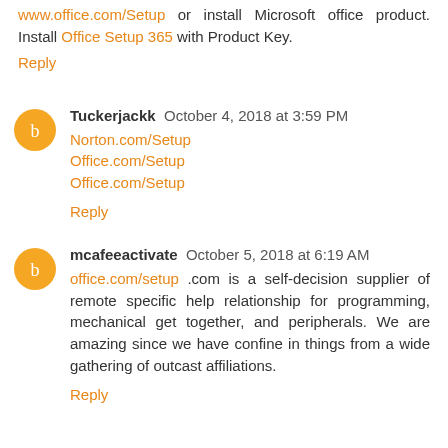www.office.com/Setup or install Microsoft office product. Install Office Setup 365 with Product Key.
Reply
Tuckerjackk  October 4, 2018 at 3:59 PM
Norton.com/Setup
Office.com/Setup
Office.com/Setup
Reply
mcafeeactivate  October 5, 2018 at 6:19 AM
office.com/setup .com is a self-decision supplier of remote specific help relationship for programming, mechanical get together, and peripherals. We are amazing since we have confine in things from a wide gathering of outcast affiliations.
Reply